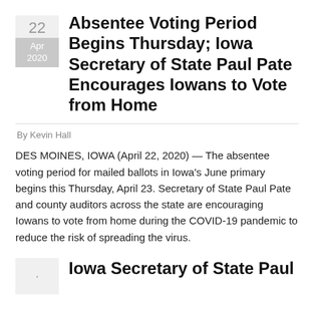Absentee Voting Period Begins Thursday; Iowa Secretary of State Paul Pate Encourages Iowans to Vote from Home
By Kevin Hall
DES MOINES, IOWA (April 22, 2020) — The absentee voting period for mailed ballots in Iowa's June primary begins this Thursday, April 23. Secretary of State Paul Pate and county auditors across the state are encouraging Iowans to vote from home during the COVID-19 pandemic to reduce the risk of spreading the virus.
Iowa Secretary of State Paul